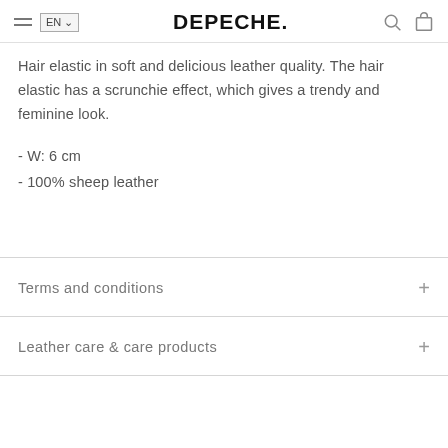DEPECHE.
Hair elastic in soft and delicious leather quality. The hair elastic has a scrunchie effect, which gives a trendy and feminine look.
- W: 6 cm
- 100% sheep leather
Terms and conditions
Leather care & care products